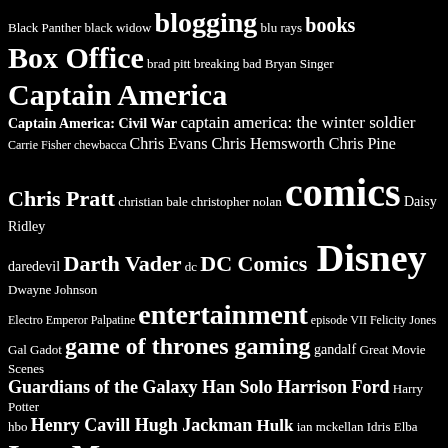[Figure (infographic): Tag cloud on black background with white text, showing various pop-culture, entertainment, and media keywords at varying font sizes indicating frequency/importance. Terms include: Black Panther, black widow, blogging, blu rays, books, Box Office, brad pitt, breaking bad, Bryan Singer, Captain America, Captain America: Civil War, captain america: the winter soldier, Carrie Fisher, chewbacca, Chris Evans, Chris Hemsworth, Chris Pine, Chris Pratt, christian bale, christopher nolan, comics, Daisy Ridley, daredevil, Darth Vader, dc, DC Comics, Disney, Dwayne Johnson, Electro, Emperor Palpatine, entertainment, episode VII, Felicity Jones, Gal Gadot, game of thrones, gaming, gandalf, Great Movie Scenes, Guardians of the Galaxy, Han Solo, Harrison Ford, Harry Potter, hbo, Henry Cavill, Hugh Jackman, Hulk, ian mckellan, Idris Elba, Iron Man, Iron Man 3, Jamie Foxx, jennifer lawrence, jessica chastain, JJ Abrams, johnny depp, joker, joss whedon, justice league, killing time, Kylo Ren, Loki, lucasfilm, Luke Skywalker, magneto, Man of Steel, Marc Webb, Mark Hamill, martin freeman, Marvel, Marvel Cinematic Universe, marvel comics, matt damon, Matthew McConaughey, MCU, Michael Fassbender, Microsoft, Morgan Freeman, movie, Movie News, movie review, movies, movie trailers, netflix, Nick Fury, obi wan kenobi, peter dinklage, peter jackson, Pixar, playstation 3, Playstation 4, poll, poster, robert downey jr]